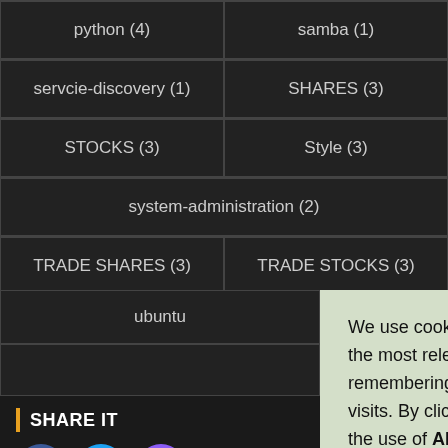python (4)
samba (1)
servcie-discovery (1)
SHARES (3)
STOCKS (3)
Style (3)
system-administration (2)
TRADE SHARES (3)
TRADE STOCKS (3)
ubuntu
SHARE IT
We use cookies on our website to give you the most relevant experience by remembering your preferences and repeat visits. By clicking “Accept”, you consent to the use of ALL the cookies.
Cookie settings
ACCEPT